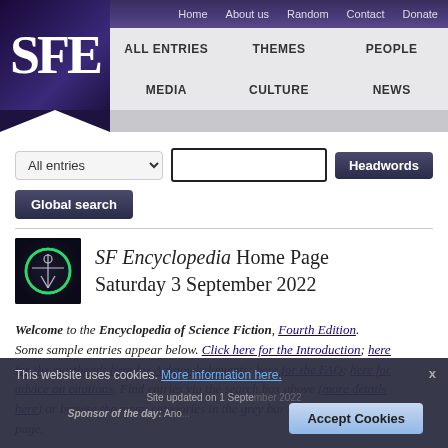Home  About us  Random  Contact  Donate
ALL ENTRIES  THEMES  PEOPLE  MEDIA  CULTURE  NEWS
SF Encyclopedia Home Page Saturday 3 September 2022
Welcome to the Encyclopedia of Science Fiction, Fourth Edition. Some sample entries appear below. Click here for the Introduction; here for the masthead; here for Acknowledgments; here for the FAQ; here for advice on citations. Find entries via the search box above (more details here) or browse the menu categories in the grey bar at the top of this page.
This website uses cookies. More information here.
Site updated on 1 September 2022
Sponsor of the day: Ano...